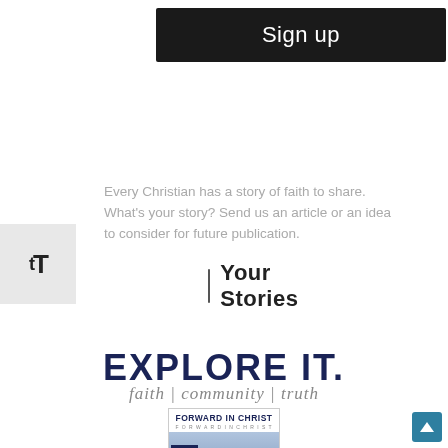Sign up
Your Stories
Every Christian has a story of faith to share. What's your story? Send us an article or an idea to consider for future publication.
Submit articles
[Figure (logo): EXPLORE IT. faith | community | truth logo with Forward in Christ magazine cover showing HERE & NOW headline]
[Figure (illustration): TT text size toggle icon]